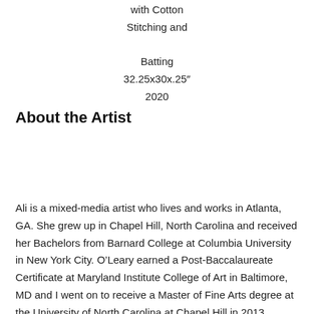with Cotton Stitching and Batting
32.25x30x.25"
2020
About the Artist
Ali is a mixed-media artist who lives and works in Atlanta, GA. She grew up in Chapel Hill, North Carolina and received her Bachelors from Barnard College at Columbia University in New York City. O'Leary earned a Post-Baccalaureate Certificate at Maryland Institute College of Art in Baltimore, MD and I went on to receive a Master of Fine Arts degree at the University of North Carolina at Chapel Hill in 2013. Before returning to the South, She worked in New York City for several years in a fashion design